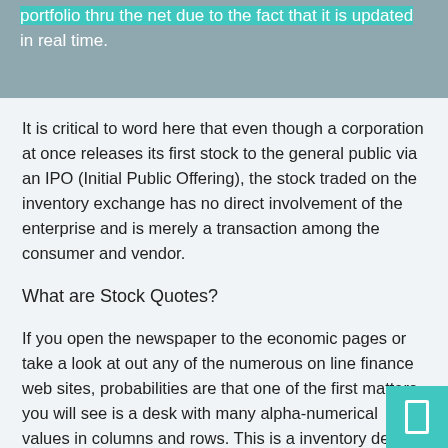portfolio thru the net due to the fact that it is updated in real time.
It is critical to word here that even though a corporation at once releases its first stock to the general public via an IPO (Initial Public Offering), the stock traded on the inventory exchange has no direct involvement of the enterprise and is merely a transaction among the consumer and vendor.
What are Stock Quotes?
If you open the newspaper to the economic pages or take a look at out any of the numerous on line finance web sites, probabilities are that one of the first matters you will see is a desk with many alpha-numerical values in columns and rows. This is a inventory desk. The inventory desk offers the following information: name of business enterprise, three letter ticker symbol of corporation, the best and lowest fee